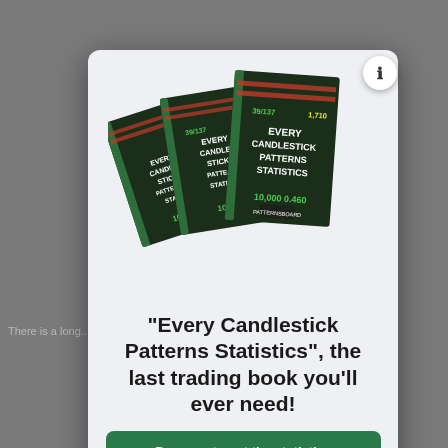[Figure (illustration): Three copies of the book 'Every Candlestick Patterns Statistics' fanned out, dark green/black covers with trading chart imagery and text showing statistics like 10,000 and 0.460]
"Every Candlestick Patterns Statistics", the last trading book you'll ever need!